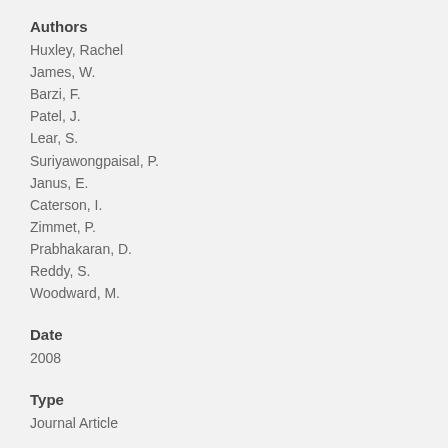Authors
Huxley, Rachel
James, W.
Barzi, F.
Patel, J.
Lear, S.
Suriyawongpaisal, P.
Janus, E.
Caterson, I.
Zimmet, P.
Prabhakaran, D.
Reddy, S.
Woodward, M.
Date
2008
Type
Journal Article